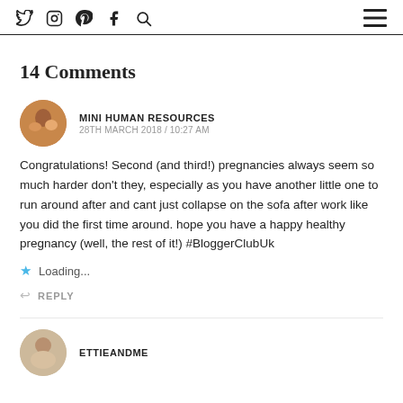Social icons (Twitter, Instagram, Pinterest, Facebook, Search) and hamburger menu
14 Comments
MINI HUMAN RESOURCES
28TH MARCH 2018 / 10:27 AM
Congratulations! Second (and third!) pregnancies always seem so much harder don't they, especially as you have another little one to run around after and cant just collapse on the sofa after work like you did the first time around. hope you have a happy healthy pregnancy (well, the rest of it!) #BloggerClubUk
Loading...
REPLY
ETTIEANDME